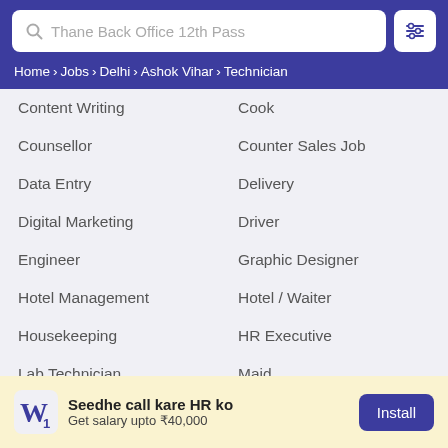Thane Back Office 12th Pass
Home › Jobs › Delhi › Ashok Vihar › Technician
Content Writing
Cook
Counsellor
Counter Sales Job
Data Entry
Delivery
Digital Marketing
Driver
Engineer
Graphic Designer
Hotel Management
Hotel / Waiter
Housekeeping
HR Executive
Lab Technician
Maid
Marketing
Medical
Nursing
Office Boy
Peon
Receptionist
Seedhe call kare HR ko
Get salary upto ₹40,000